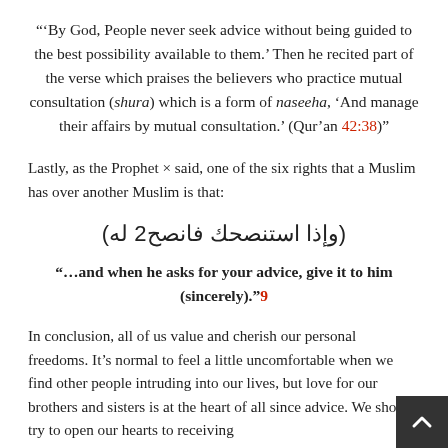“‘By God, People never seek advice without being guided to the best possibility available to them.’ Then he recited part of the verse which praises the believers who practice mutual consultation (shura) which is a form of naseeha, ‘And manage their affairs by mutual consultation.’ (Qur’an 42:38)”
Lastly, as the Prophet × said, one of the six rights that a Muslim has over another Muslim is that:
(وإذا استنصحك فانصح له)
“…and when he asks for your advice, give it to him (sincerely).”9
In conclusion, all of us value and cherish our personal freedoms. It’s normal to feel a little uncomfortable when we find other people intruding into our lives, but love for our brothers and sisters is at the heart of all since advice. We should try to open our hearts to receiving